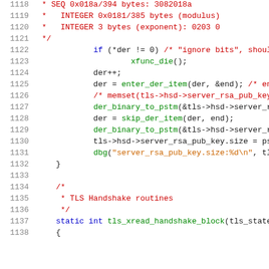Source code listing lines 1118–1138, C language
1118     * SEQ 0x018a/394 bytes: 3082018a
1119     *   INTEGER 0x0181/385 bytes (modulus)
1120     *   INTEGER 3 bytes (exponent): 0203 0
1121     */
1122     if (*der != 0) /* "ignore bits", should
1123             xfunc_die();
1124     der++;
1125     der = enter_der_item(der, &end); /* ent
1126     /* memset(tls->hsd->server_rsa_pub_key,
1127     der_binary_to_pstm(&tls->hsd->server_rs
1128     der = skip_der_item(der, end);
1129     der_binary_to_pstm(&tls->hsd->server_rs
1130     tls->hsd->server_rsa_pub_key.size = pst
1131     dbg("server_rsa_pub_key.size:%d\n", tls
1132 }
1133
1134 /*
1135  * TLS Handshake routines
1136  */
1137 static int tls_xread_handshake_block(tls_state_
1138 {